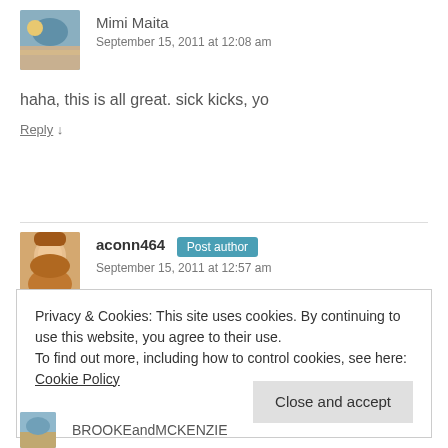[Figure (photo): Avatar thumbnail of Mimi Maita — beach/landscape scene]
Mimi Maita
September 15, 2011 at 12:08 am
haha, this is all great. sick kicks, yo
Reply ↓
[Figure (photo): Avatar thumbnail of aconn464 — woman's face]
aconn464 Post author
September 15, 2011 at 12:57 am
Privacy & Cookies: This site uses cookies. By continuing to use this website, you agree to their use.
To find out more, including how to control cookies, see here: Cookie Policy
Close and accept
[Figure (photo): Avatar thumbnail of BROOKEandMCKENZIE — partial, beach scene]
BROOKEandMCKENZIE